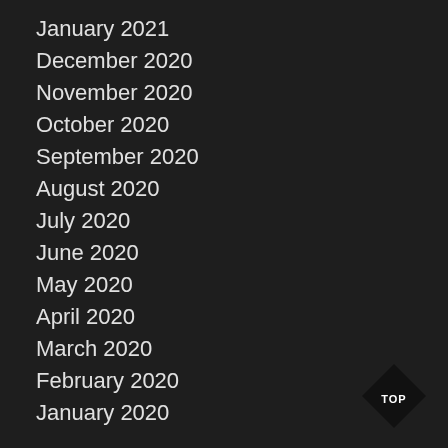January 2021
December 2020
November 2020
October 2020
September 2020
August 2020
July 2020
June 2020
May 2020
April 2020
March 2020
February 2020
January 2020
[Figure (other): Black diamond shape with white text 'TOP' — a back-to-top navigation button]